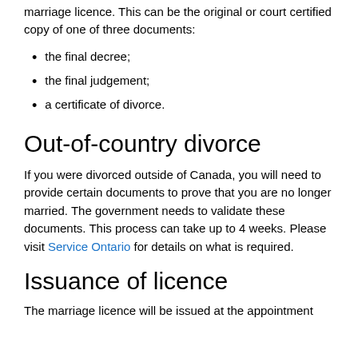marriage licence. This can be the original or court certified copy of one of three documents:
the final decree;
the final judgement;
a certificate of divorce.
Out-of-country divorce
If you were divorced outside of Canada, you will need to provide certain documents to prove that you are no longer married. The government needs to validate these documents. This process can take up to 4 weeks. Please visit Service Ontario for details on what is required.
Issuance of licence
The marriage licence will be issued at the appointment